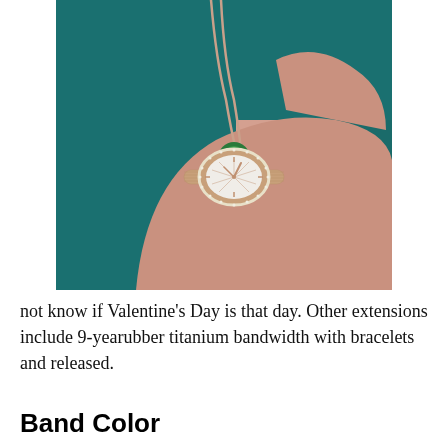[Figure (photo): A woman wearing a rose gold diamond-bezel watch on her wrist, dressed in a teal top, with a rose gold necklace featuring a green malachite pendant.]
not know if Valentine's Day is that day. Other extensions include 9-yearubber titanium bandwidth with bracelets and released.
Band Color